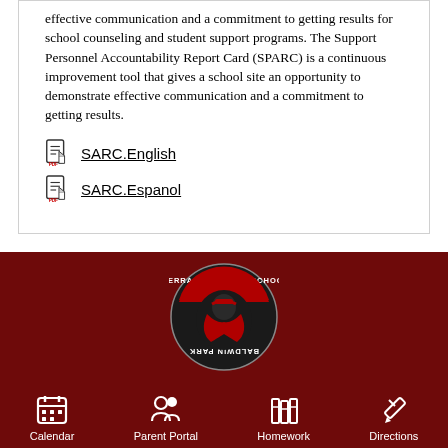effective communication and a commitment to getting results for school counseling and student support programs. The Support Personnel Accountability Report Card (SPARC) is a continuous improvement tool that gives a school site an opportunity to demonstrate effective communication and a commitment to getting results.
SARC.English
SARC.Espanol
[Figure (logo): Sierra Vista High School Baldwin Park circular logo with a masked figure in red cape on black background]